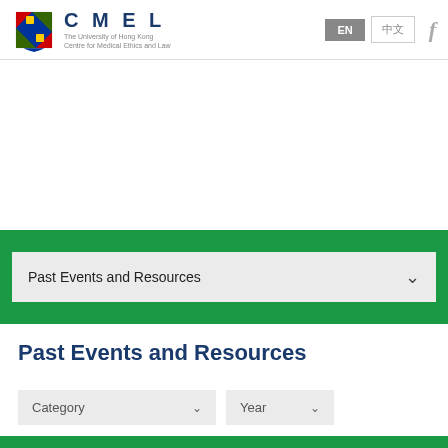CMEL – The University of Hong Kong Centre for Medical Ethics and Law
Past Events and Resources
Past Events and Resources
Category   Year